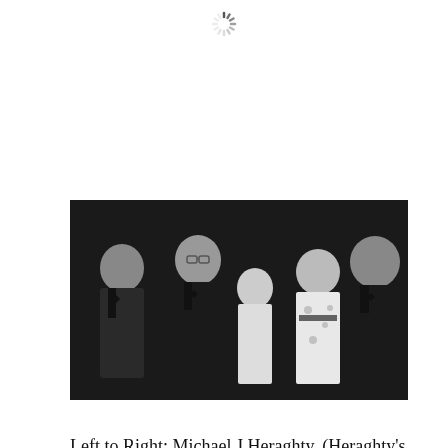[Figure (photo): Black and white photograph of five people at a formal event, three men in tuxedos and bow ties, two women. Left to right: Michael J Heraghty, Raymond Strain, Mrs Strain, and Mrs Heraghty.]
Left to Right: Michael J Heraghty, (Heraghty’s Inn); Raymond Strain, (Eadie Cairns); Mrs Strain; and Mrs